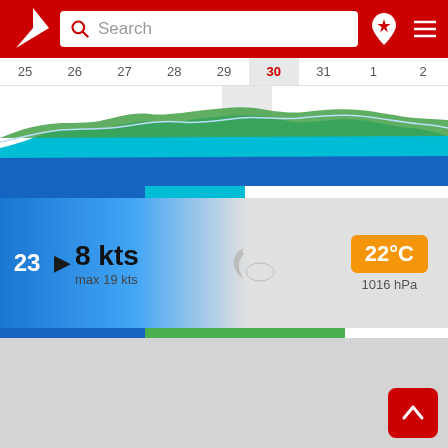[Figure (screenshot): Windfinder app header with red background, logo (white sailboat/arrow), search bar with magnifier icon and 'Search' placeholder, location pin with star icon, and hamburger menu icon]
[Figure (line-chart): Wind forecast date bar showing dates 25, 26, 27, 28, 29, 30 (selected/highlighted in red), 31, 1, 2 with wind speed area chart below showing blue, cyan and green wave lines across the days]
23  ▶  8 kts  max 19 kts  22°C  1016 hPa
[Figure (infographic): Wind info panel: day 23, arrow pointing right, 8 kts wind speed (max 19 kts), partly cloudy night weather icon, temperature badge 22°C in orange, pressure 1016 hPa. Blue/cyan progress bars below.]
[Figure (map): Gray map background area (lower portion of screen, app map view)]